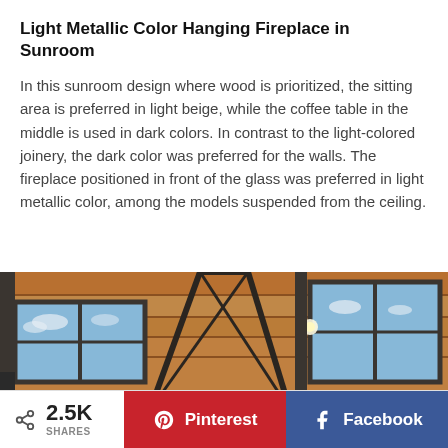Light Metallic Color Hanging Fireplace in Sunroom
In this sunroom design where wood is prioritized, the sitting area is preferred in light beige, while the coffee table in the middle is used in dark colors. In contrast to the light-colored joinery, the dark color was preferred for the walls. The fireplace positioned in front of the glass was preferred in light metallic color, among the models suspended from the ceiling.
[Figure (photo): Interior photo of a sunroom with a wooden ceiling, large glass windows, metal framing, and a hanging fireplace visible from below.]
2.5K SHARES
Pinterest
Facebook